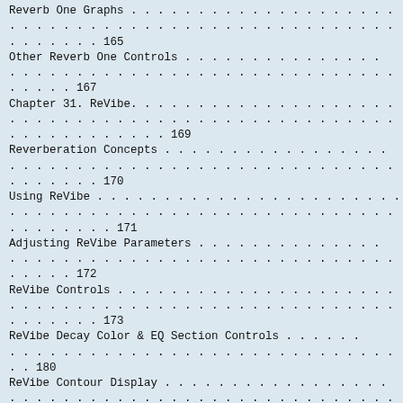Reverb One Graphs . . . . . . . . . . . . . . . . . . . . . . . . . . . . . . . . . . . . . . . . . . . . 165
Other Reverb One Controls . . . . . . . . . . . . . . . . . . . . . . . . . . . . . . . . . . . . 167
Chapter 31. ReVibe. . . . . . . . . . . . . . . . . . . . . . . . . . . . . . . . . . . . . . . . . . . 169
Reverberation Concepts . . . . . . . . . . . . . . . . . . . . . . . . . . . . . . . . . . . . . 170
Using ReVibe . . . . . . . . . . . . . . . . . . . . . . . . . . . . . . . . . . . . . . . . . . . . . 171
Adjusting ReVibe Parameters . . . . . . . . . . . . . . . . . . . . . . . . . . . . . . . . 172
ReVibe Controls . . . . . . . . . . . . . . . . . . . . . . . . . . . . . . . . . . . . . . . . . . 173
ReVibe Decay Color & EQ Section Controls . . . . . . . . . . . . . . . . . . . 180
ReVibe Contour Display . . . . . . . . . . . . . . . . . . . . . . . . . . . . . . . . . . . . 183
ReVibe Input/Output Meter . . . . . . . . . . . . . . . . . . . . . . . . . . . . . . . . 184
ReVibe Online Help Button . . . . . . . . . . . . . . . . . . . . . . . . . . . . . . . . 184